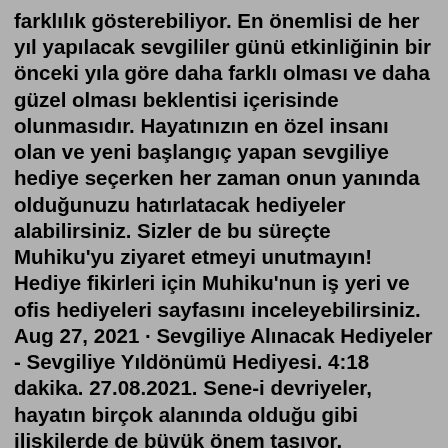farklılık gösterebiliyor. En önemlisi de her yıl yapılacak sevgililer günü etkinliğinin bir önceki yıla göre daha farklı olması ve daha güzel olması beklentisi içerisinde olunmasıdır. Hayatınızın en özel insanı olan ve yeni başlangıç yapan sevgiliye hediye seçerken her zaman onun yanında olduğunuzu hatırlatacak hediyeler alabilirsiniz. Sizler de bu süreçte Muhiku'yu ziyaret etmeyi unutmayın! Hediye fikirleri için Muhiku'nun iş yeri ve ofis hediyeleri sayfasını inceleyebilirsiniz. Aug 27, 2021 · Sevgiliye Alınacak Hediyeler - Sevgiliye Yıldönümü Hediyesi. 4:18 dakika. 27.08.2021. Sene-i devriyeler, hayatın birçok alanında olduğu gibi ilişkilerde de büyük önem taşıyor. Yıldönümleri yaklaştıkça kişileri hediye telaşı sarıyor. Bu telaşını bir nebze de olsa hafifletmek amacıyla yıldönümüne özel hediyeleri ... Sevgililer, eşler ve nişanlılar için son derece önem arz eden bu gün için yapılacak planlar ve alınacak hediyeler herkese göre farklılık gösterebiliyor. 1 Ağustos 2022, Pazartesi TREND. ... Sevgililer gününde alınacak hediyeler ilgili 27.08.2021 Sevgili...